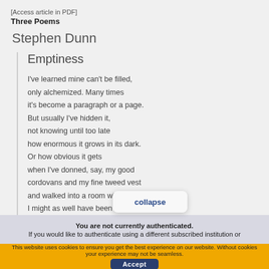[Access article in PDF]
Three Poems
Stephen Dunn
Emptiness
I've learned mine can't be filled,
only alchemized. Many times
it's become a paragraph or a page.
But usually I've hidden it,
not knowing until too late
how enormous it grows in its dark.
Or how obvious it gets
when I've donned, say, my good
cordovans and my fine tweed vest
and walked into a room wi...
I might as well have been a...
collapse
You are not currently authenticated.
If you would like to authenticate using a different subscribed institution or
This website uses cookies to ensure you get the best experience on our website. Without cookies your experience may not be seamless.
Accept